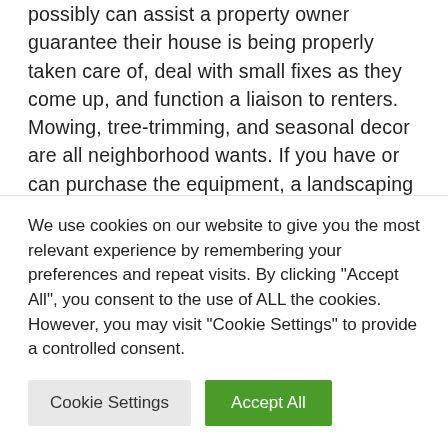possibly can assist a property owner guarantee their house is being properly taken care of, deal with small fixes as they come up, and function a liaison to renters. Mowing, tree-trimming, and seasonal decor are all neighborhood wants. If you have or can purchase the equipment, a landscaping business could be a lucrative affair. Many individuals have the willingness to do the soiled work in their backyards, but few have
We use cookies on our website to give you the most relevant experience by remembering your preferences and repeat visits. By clicking "Accept All", you consent to the use of ALL the cookies. However, you may visit "Cookie Settings" to provide a controlled consent.